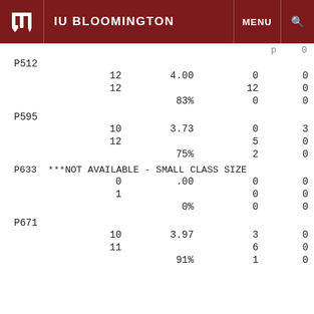IU BLOOMINGTON
P512
|  | 12 | 4.00 | 0 | 0 |
|  | 12 |  | 12 | 0 |
|  |  | 83% | 0 | 0 |
P595
|  | 10 | 3.73 | 0 | 3 |
|  | 12 |  | 5 | 0 |
|  |  | 75% | 2 | 0 |
P633  ***NOT AVAILABLE - SMALL CLASS SIZE
|  | 0 | .00 | 0 | 0 |
|  | 1 |  | 0 | 0 |
|  |  | 0% | 0 | 0 |
P671
|  | 10 | 3.97 | 3 | 0 |
|  | 11 |  | 6 | 0 |
|  |  | 91% | 1 | 0 |